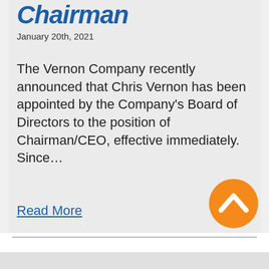Chairman
January 20th, 2021
The Vernon Company recently announced that Chris Vernon has been appointed by the Company's Board of Directors to the position of Chairman/CEO, effective immediately. Since...
Read More